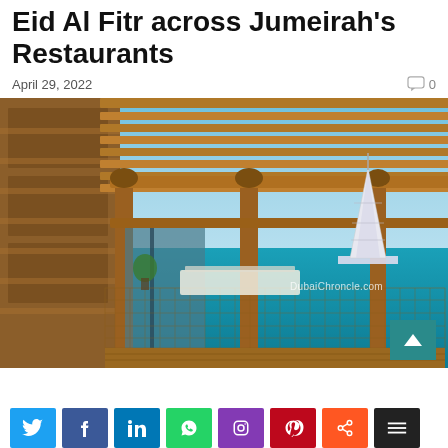Eid Al Fitr across Jumeirah's Restaurants
April 29, 2022
0
[Figure (photo): Outdoor wooden pergola terrace restaurant over turquoise water with Burj Al Arab visible in background, watermark 'DubaiChroncle.com']
Social share buttons: Twitter, Facebook, LinkedIn, WhatsApp, Instagram, Pinterest, Share, More